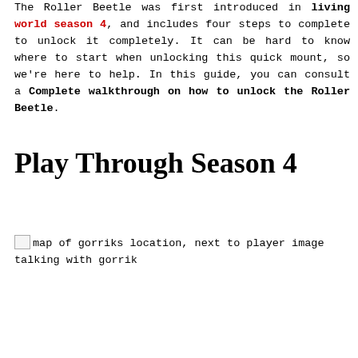The Roller Beetle was first introduced in living world season 4, and includes four steps to complete to unlock it completely. It can be hard to know where to start when unlocking this quick mount, so we're here to help. In this guide, you can consult a Complete walkthrough on how to unlock the Roller Beetle.
Play Through Season 4
[Figure (photo): map of gorriks location, next to player image talking with gorrik]